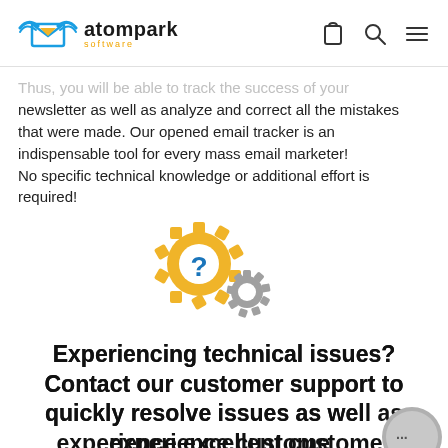atompark software
Thus, you will be able to track the success of your newsletter as well as analyze and correct all the mistakes that were made. Our opened email tracker is an indispensable tool for every mass email marketer! No specific technical knowledge or additional effort is required!
[Figure (illustration): Two gear icons with a question mark in the center of the larger golden gear, and a smaller grey gear to the lower right.]
Experiencing technical issues? Contact our customer support to quickly resolve issues as well as experience excellent customer service.